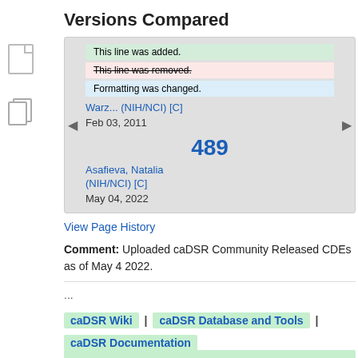Versions Compared
[Figure (screenshot): Version comparison legend box showing: 'This line was added.' in green, 'This line was removed.' with strikethrough in pink, 'Formatting was changed.' in blue. Below are two version entries: first with author Warz... (NIH/NCI) [C], date Feb 03, 2011; second with version number 489, author Asafieva, Natalia (NIH/NCI) [C], date May 04, 2022. Navigation arrows on left and right.]
View Page History
Comment: Uploaded caDSR Community Released CDEs as of May 4 2022.
...
caDSR Wiki | caDSR Database and Tools | caDSR Documentation